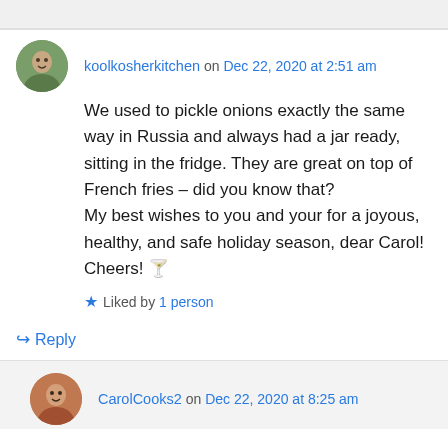koolkosherkitchen on Dec 22, 2020 at 2:51 am
We used to pickle onions exactly the same way in Russia and always had a jar ready, sitting in the fridge. They are great on top of French fries – did you know that? My best wishes to you and your for a joyous, healthy, and safe holiday season, dear Carol! Cheers! 🍸
Liked by 1 person
Reply
CarolCooks2 on Dec 22, 2020 at 8:25 am